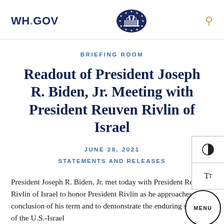WH.GOV
BRIEFING ROOM
Readout of President Joseph R. Biden, Jr. Meeting with President Reuven Rivlin of Israel
JUNE 28, 2021
STATEMENTS AND RELEASES
President Joseph R. Biden, Jr. met today with President Reuven Rivlin of Israel to honor President Rivlin as he approaches the conclusion of his term and to demonstrate the enduring strength of the U.S.-Israel